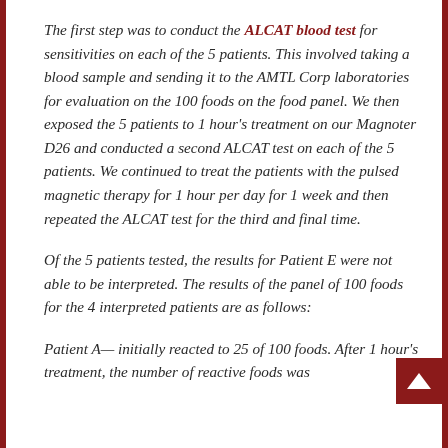The first step was to conduct the ALCAT blood test for sensitivities on each of the 5 patients. This involved taking a blood sample and sending it to the AMTL Corp laboratories for evaluation on the 100 foods on the food panel. We then exposed the 5 patients to 1 hour's treatment on our Magnoter D26 and conducted a second ALCAT test on each of the 5 patients. We continued to treat the patients with the pulsed magnetic therapy for 1 hour per day for 1 week and then repeated the ALCAT test for the third and final time.
Of the 5 patients tested, the results for Patient E were not able to be interpreted. The results of the panel of 100 foods for the 4 interpreted patients are as follows:
Patient A— initially reacted to 25 of 100 foods. After 1 hour's treatment, the number of reactive foods was